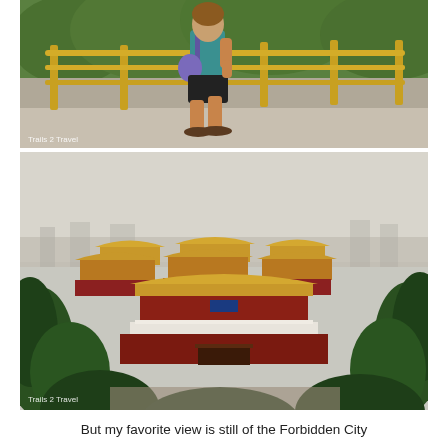[Figure (photo): A person walking along a viewing terrace with gold railings, wearing black shorts and sandals, with lush green trees visible in the background below.]
[Figure (photo): Aerial view of the Forbidden City in Beijing, showing the traditional yellow-tiled rooftops of the palace complex through pine trees in the foreground, with a hazy smoggy sky above the city.]
But my favorite view is still of the Forbidden City